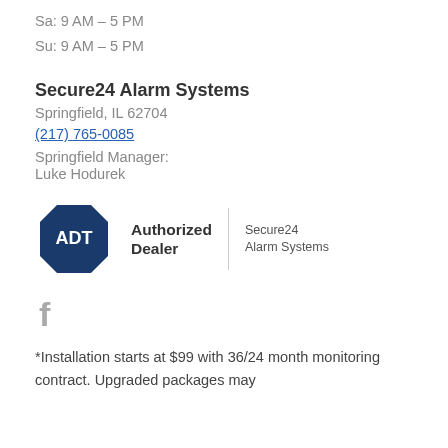Sa: 9 AM – 5 PM
Su: 9 AM – 5 PM
Secure24 Alarm Systems
Springfield, IL 62704
(217) 765-0085
Springfield Manager:
Luke Hodurek
[Figure (logo): ADT Authorized Dealer logo with Secure24 Alarm Systems branding. Blue octagon with ADT text, 'Authorized Dealer' text, vertical divider, and 'Secure24 Alarm Systems' text.]
[Figure (logo): Facebook social media icon in gray.]
*Installation starts at $99 with 36/24 month monitoring contract. Upgraded packages may